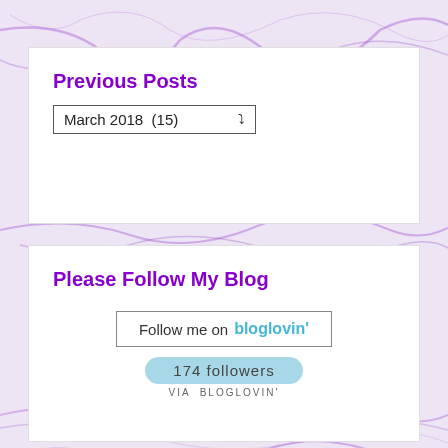Previous Posts
[Figure (screenshot): Dropdown selector showing 'March 2018 (15)' with a down arrow]
Please Follow My Blog
[Figure (screenshot): Bloglovin follow button and 174 followers badge via Bloglovin]
Number Of Visitors To Site
[Figure (screenshot): Visitor counter showing 0031394]
Since 23-6-14